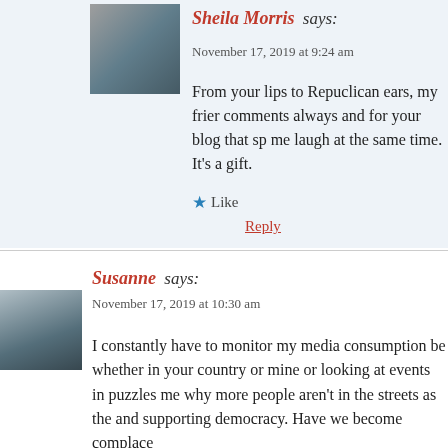Sheila Morris says:
November 17, 2019 at 9:24 am
From your lips to Repuclican ears, my frien comments always and for your blog that sp me laugh at the same time. It's a gift.
Like
Reply
Susanne says:
November 17, 2019 at 10:30 am
I constantly have to monitor my media consumption be whether in your country or mine or looking at events in puzzles me why more people aren't in the streets as the and supporting democracy. Have we become complace